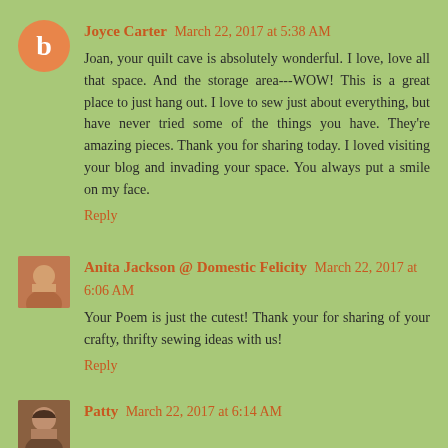Joyce Carter  March 22, 2017 at 5:38 AM
Joan, your quilt cave is absolutely wonderful. I love, love all that space. And the storage area---WOW! This is a great place to just hang out. I love to sew just about everything, but have never tried some of the things you have. They're amazing pieces. Thank you for sharing today. I loved visiting your blog and invading your space. You always put a smile on my face.
Reply
Anita Jackson @ Domestic Felicity  March 22, 2017 at 6:06 AM
Your Poem is just the cutest! Thank your for sharing of your crafty, thrifty sewing ideas with us!
Reply
Patty  March 22, 2017 at 6:14 AM